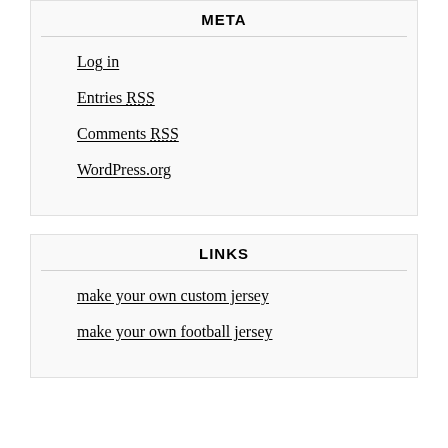META
Log in
Entries RSS
Comments RSS
WordPress.org
LINKS
make your own custom jersey
make your own football jersey